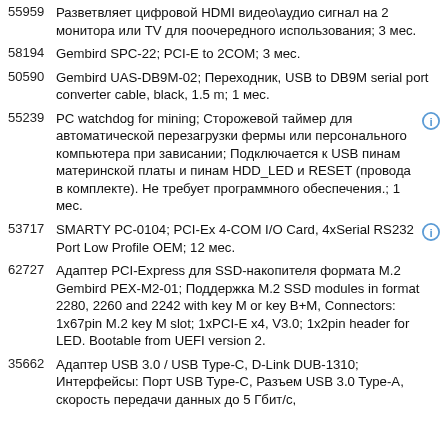55959 Разветвляет цифровой HDMI видео\аудио сигнал на 2 монитора или TV для поочередного использования; 3 мес.
58194 Gembird SPC-22; PCI-E to 2COM; 3 мес.
50590 Gembird UAS-DB9M-02; Переходник, USB to DB9M serial port converter cable, black, 1.5 m; 1 мес.
55239 PC watchdog for mining; Сторожевой таймер для автоматической перезагрузки фермы или персонального компьютера при зависании; Подключается к USB пинам материнской платы и пинам HDD_LED и RESET (провода в комплекте). Не требует программного обеспечения.; 1 мес.
53717 SMARTY PC-0104; PCI-Ex 4-COM I/O Card, 4xSerial RS232 Port Low Profile OEM; 12 мес.
62727 Адаптер PCI-Express для SSD-накопителя формата M.2 Gembird PEX-M2-01; Поддержка M.2 SSD modules in format 2280, 2260 and 2242 with key M or key B+M, Connectors: 1x67pin M.2 key M slot; 1xPCI-E x4, V3.0; 1x2pin header for LED. Bootable from UEFI version 2.
35662 Адаптер USB 3.0 / USB Type-C, D-Link DUB-1310; Интерфейсы: Порт USB Type-C, Разъем USB 3.0 Type-A, скорость передачи данных до 5 Гбит/с,